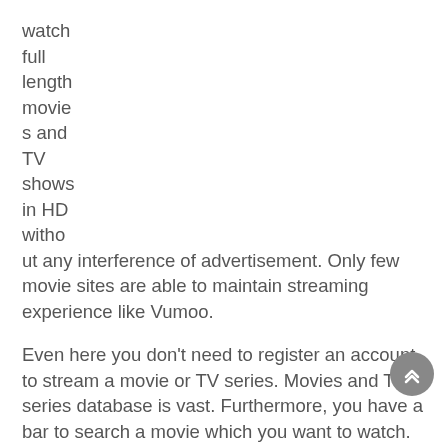watch full length movies and TV shows in HD without any interference of advertisement. Only few movie sites are able to maintain streaming experience like Vumoo.
Even here you don't need to register an account to stream a movie or TV series. Movies and TV series database is vast. Furthermore, you have a bar to search a movie which you want to watch.